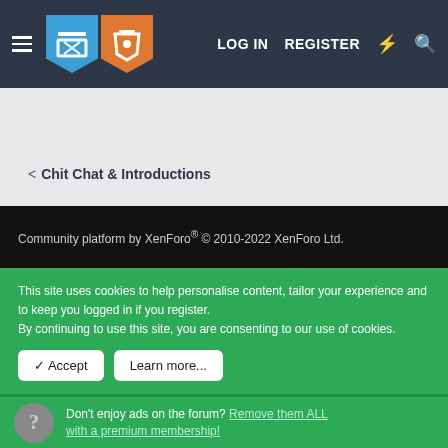LOG IN  REGISTER
< Chit Chat & Introductions
Community platform by XenForo® © 2010-2022 XenForo Ltd.
This site uses cookies to help personalise content, tailor your experience and to keep you logged in if you register.
By continuing to use this site, you are consenting to our use of cookies.
✓ Accept   Learn more...
Don't enjoy ads on the forum? Remove them ALL with a premium membership!